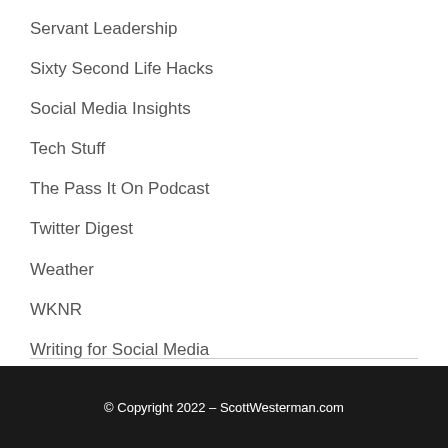Servant Leadership
Sixty Second Life Hacks
Social Media Insights
Tech Stuff
The Pass It On Podcast
Twitter Digest
Weather
WKNR
Writing for Social Media
© Copyright 2022 – ScottWesterman.com